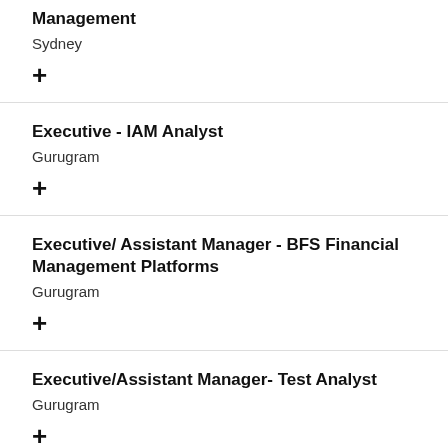Management
Sydney
+
Executive - IAM Analyst
Gurugram
+
Executive/ Assistant Manager - BFS Financial Management Platforms
Gurugram
+
Executive/Assistant Manager- Test Analyst
Gurugram
+